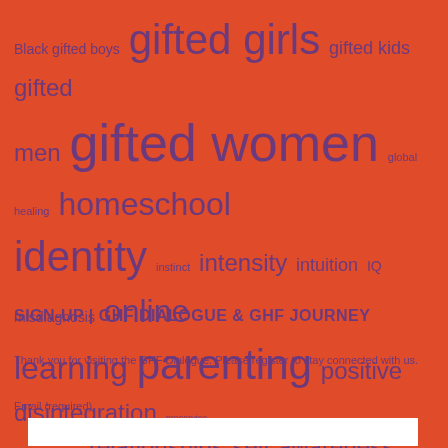[Figure (infographic): Word cloud with educational terms on an orange-red background in purple text, varying font sizes indicating frequency/importance. Terms include: Black gifted boys, gifted girls, gifted kids, gifted men, gifted women, global healing, homeschool, identity, instinct, intensity, intuition, IQ, misdiagnosis, online learning, parenting, positive disintegration, preservice teacher program, relationships, self-awareness, self-esteem, strength-based learning, teaching, twice-exceptional, validation, women in training]
SIGN-UP | GHF DIALOGUE & GHF JOURNEY
Thank you for visiting the GHF Dialogue. Please register to stay connected with us.
Email (required)